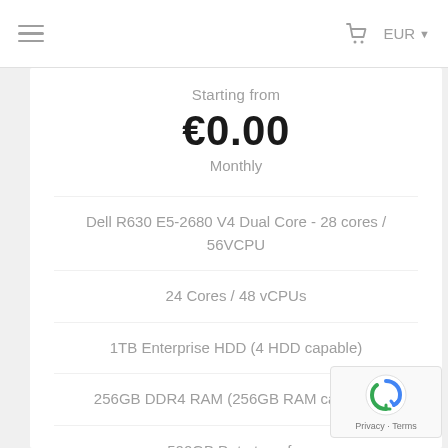≡  EUR ▼
Starting from
€0.00
Monthly
Dell R630 E5-2680 V4 Dual Core - 28 cores / 56VCPU
24 Cores / 48 vCPUs
1TB Enterprise HDD (4 HDD capable)
256GB DDR4 RAM (256GB RAM capable)
500GB Data transfer